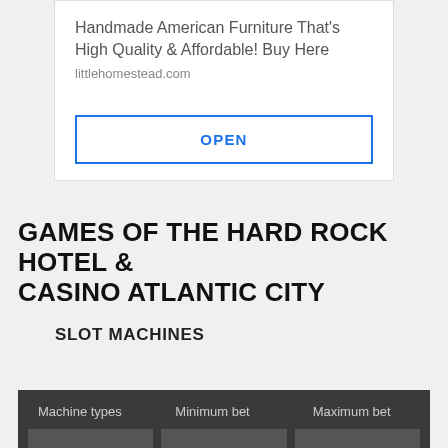[Figure (other): Advertisement for littlehomestead.com showing 'Handmade American Furniture That's High Quality & Affordable! Buy Here' with an OPEN button]
GAMES OF THE HARD ROCK HOTEL & CASINO ATLANTIC CITY
SLOT MACHINES
| Machine types | Minimum bet | Maximum bet |
| --- | --- | --- |
| Traditional reel |  |  |